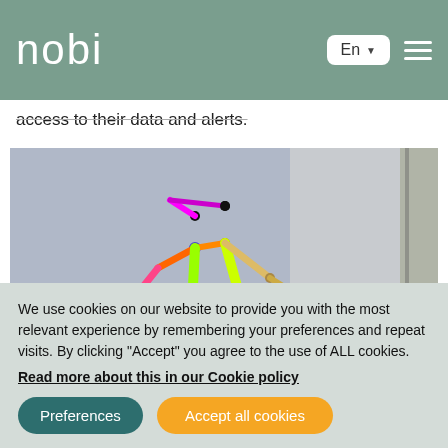nobi  En  ▼  ≡
access to their data and alerts.
[Figure (photo): A room camera view with a colorful skeletal pose estimation overlay of a human figure. The skeleton is drawn with multicolored lines representing body joints and limbs, overlaid on a room interior with grey walls and wooden floor.]
We use cookies on our website to provide you with the most relevant experience by remembering your preferences and repeat visits. By clicking "Accept" you agree to the use of ALL cookies.
Read more about this in our Cookie policy
Preferences  Accept all cookies